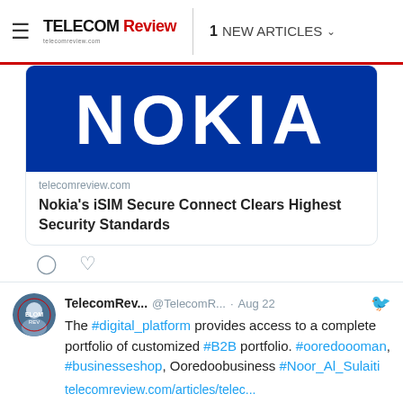TELECOM Review | 1 NEW ARTICLES
[Figure (logo): Nokia logo on blue background]
telecomreview.com
Nokia's iSIM Secure Connect Clears Highest Security Standards
TelecomRev... @TelecomR... · Aug 22
The #digital_platform provides access to a complete portfolio of customized #B2B portfolio. #ooredoooman, #businesseshop, Ooredoobusiness #Noor_Al_Sulaiti
telecomreview.com/articles/telec...